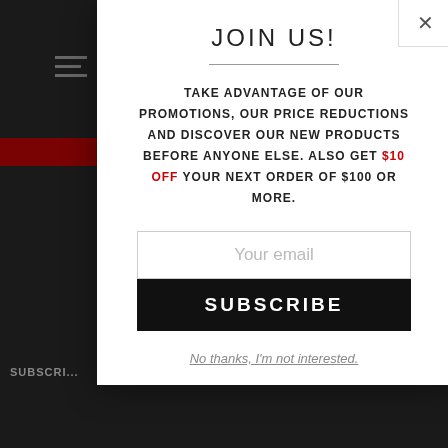JOIN US!
TAKE ADVANTAGE OF OUR PROMOTIONS, OUR PRICE REDUCTIONS AND DISCOVER OUR NEW PRODUCTS BEFORE ANYONE ELSE. ALSO GET $10 OFF YOUR NEXT ORDER OF $100 OR MORE.
Your email
SUBSCRIBE
No thanks, I'm not interested.